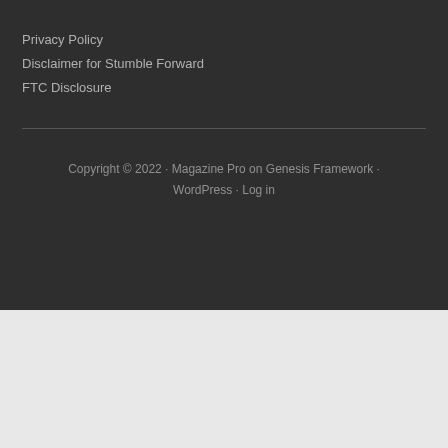Privacy Policy
Disclaimer for Stumble Forward
FTC Disclosure
Copyright © 2022 · Magazine Pro on Genesis Framework · WordPress · Log in